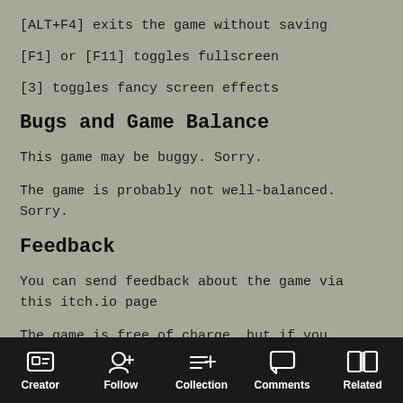[ALT+F4] exits the game without saving
[F1] or [F11] toggles fullscreen
[3] toggles fancy screen effects
Bugs and Game Balance
This game may be buggy. Sorry.
The game is probably not well-balanced. Sorry.
Feedback
You can send feedback about the game via this itch.io page
The game is free of charge, but if you enjoyed playing or reading about its development on my blog, feel free to make a donation. :)
Credits
Game art provided by Quale, licensed under Creative Commons.
Creator | Follow | Collection | Comments | Related